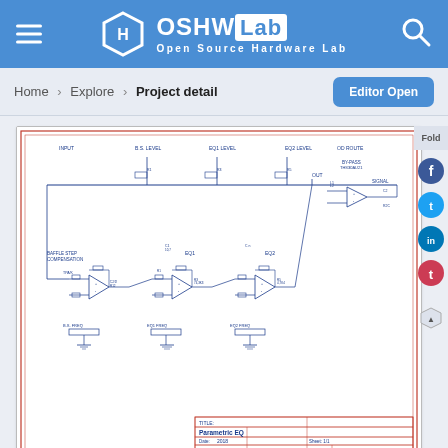OSHW Lab - Open Source Hardware Lab
Home > Explore > Project detail
[Figure (circuit-diagram): Parametric EQ schematic: electronic circuit diagram showing op-amp based equalizer with BAFFLE STEP COMPENSATION section, EQ1 and EQ2 frequency adjustment sections, output routing, title block listing 'Parametric EQ', Date 2018, Drawn By PNO Sybenius]
Parametric EQ
Open in editor